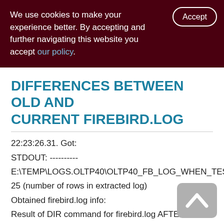We use cookies to make your experience better. By accepting and further navigating this website you accept our policy.
DIFFERENCES BETWEEN OLD AND CURRENT FIREBIRD.LOG
22:23:26.31. Got:
STDOUT: ----------
E:\TEMP\LOGS.OLTP40\OLTP40_FB_LOG_WHEN_TEST_F
25 (number of rows in extracted log)
Obtained firebird.log info:
Result of DIR command for firebird.log AFTER test finish:
2016-10-06 22:23 827
oltp40_fb_log_when_test_finished.log